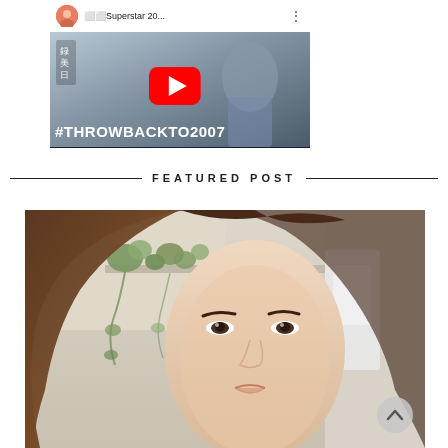[Figure (screenshot): YouTube video thumbnail showing a video titled 'Superstar 20...' with a red play button, text '#THROWBACKTO2007' in white on a dark background, and a person visible. Top bar shows channel avatar and title.]
FEATURED POST
[Figure (photo): A selfie photo of an Asian woman with long dark brown hair, looking at camera. Background shows a room with potted plants/vines on a shelf and beige walls. A scroll-up button (chevron) is visible at bottom right.]